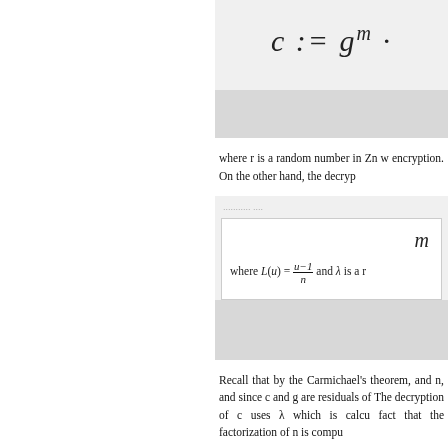where r is a random number in Zn w... encryption. On the other hand, the decryp...
where L(u) = (u-1)/n and λ is a r...
Recall that by the Carmichael's theorem, ... and n, and since c and g are residuals of ... The decryption of c uses λ which is calcu... fact that the factorization of n is compu...